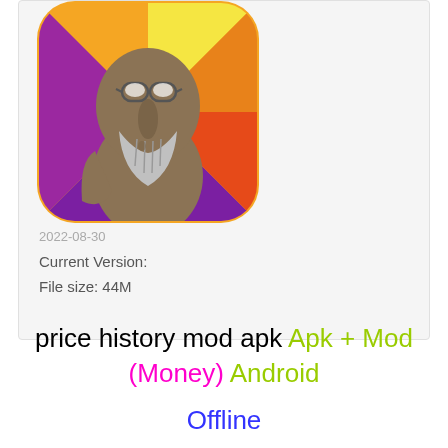[Figure (illustration): App icon showing a cartoon elderly man with a grey beard, glasses resting on head, on a colorful orange/purple/yellow radial background, rounded square shape]
2022-08-30
Current Version:
File size: 44M
price history mod apk Apk + Mod (Money) Android
Offline